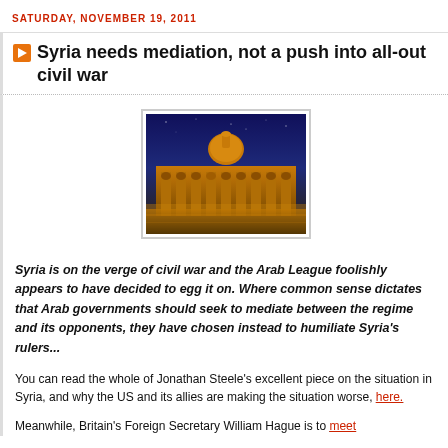SATURDAY, NOVEMBER 19, 2011
Syria needs mediation, not a push into all-out civil war
[Figure (photo): Nighttime photograph of a grand Middle Eastern building, likely the Umayyad Mosque in Damascus, illuminated with warm golden light against a deep blue sky, with reflections on the ground]
Syria is on the verge of civil war and the Arab League foolishly appears to have decided to egg it on. Where common sense dictates that Arab governments should seek to mediate between the regime and its opponents, they have chosen instead to humiliate Syria's rulers...
You can read the whole of Jonathan Steele's excellent piece on the situation in Syria, and why the US and its allies are making the situation worse, here.
Meanwhile, Britain's Foreign Secretary William Hague is to meet